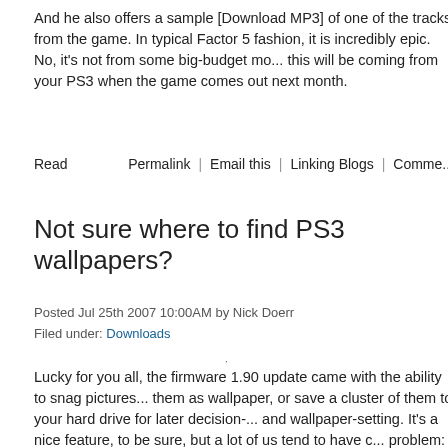And he also offers a sample [Download MP3] of one of the tracks from the game. In typical Factor 5 fashion, it is incredibly epic. No, it's not from some big-budget mo... this will be coming from your PS3 when the game comes out next month.
Read   Permalink | Email this | Linking Blogs | Comme...
Not sure where to find PS3 wallpapers?
Posted Jul 25th 2007 10:00AM by Nick Doerr
Filed under: Downloads
Lucky for you all, the firmware 1.90 update came with the ability to snag pictures... them as wallpaper, or save a cluster of them to your hard drive for later decision-... and wallpaper-setting. It's a nice feature, to be sure, but a lot of us tend to have c... problem: there's way too much out there to choose from! As a starting point, the ... PlayStation Forums have had a kind uploader set up 20 different wallpaper packs... you to check out and download. The packs range from random pictures to pretty ... to upcoming PS3 games you can't get enough of. Check it out and start your dow... sprees! If you've got any other suggestions or want to offer up what you're sportin... your PS3 screen, go ahead and mouth off in a comment.
[via N4G]
Read   Permalink | Email this | Linking Blogs | Comme...